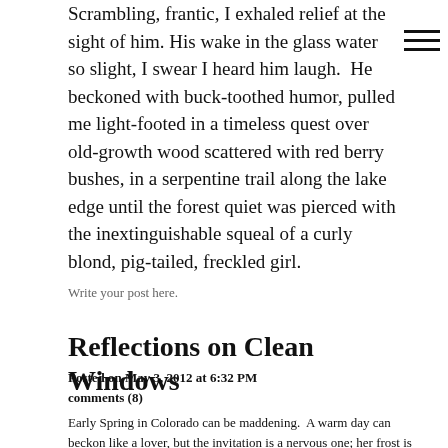Scrambling, frantic, I exhaled relief at the sight of him. His wake in the glass water so slight, I swear I heard him laugh.  He beckoned with buck-toothed humor, pulled me light-footed in a timeless quest over old-growth wood scattered with red berry bushes, in a serpentine trail along the lake edge until the forest quiet was pierced with the inextinguishable squeal of a curly blond, pig-tailed, freckled girl.
Write your post here.
Reflections on Clean Windows
Posted on May 3, 2012 at 6:32 PM
comments (8)
Early Spring in Colorado can be maddening.  A warm day can beckon like a lover, but the invitation is a nervous one; her frost is sure to follow.  The offer of fledgling blossoms and birdsong is predictably withheld in the next blanket of snow.